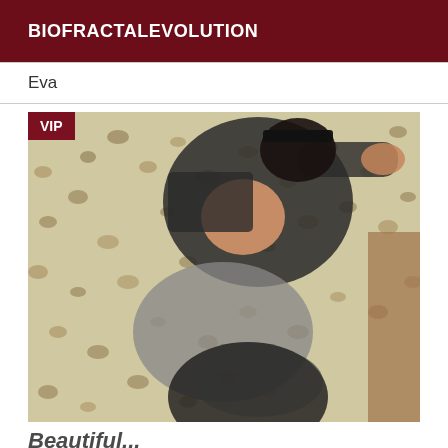BIOFRACTALEVOLUTION
Eva
[Figure (photo): VIP badge overlay on a photo of a woman in a black outfit lying on a leopard print surface]
Beautiful...